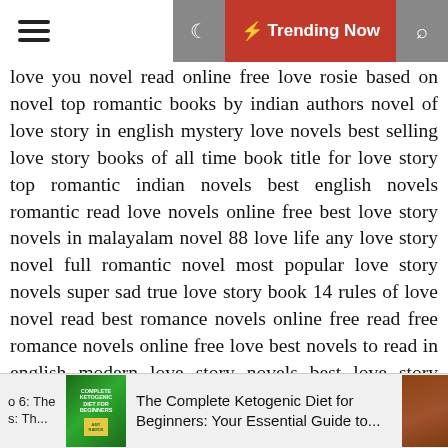☰ 🌙 ⚡ Trending Now 🔍
love you novel read online free love rosie based on novel top romantic books by indian authors novel of love story in english mystery love novels best selling love story books of all time book title for love story top romantic indian novels best english novels romantic read love novels online free best love story novels in malayalam novel 88 love life any love story novel full romantic novel most popular love story novels super sad true love story book 14 rules of love novel read best romance novels online free read free romance novels online free love best novels to read in english modern love story novels best love story novels in tamil tamil love novels read online to all the boys i loved novel best friends turned lovers novels love by chance novel read online best romantic novels in telugu best tamil love novels short romantic novels in english the man who loved children book top best romance novels best love story novel of all time latest indian romantic novels best love novels for young adults best romantic love story novels novel best romantic novels to read most intense romance
[Figure (screenshot): Advertisement bar at bottom showing The Complete Ketogenic Diet for Beginners book cover and title text]